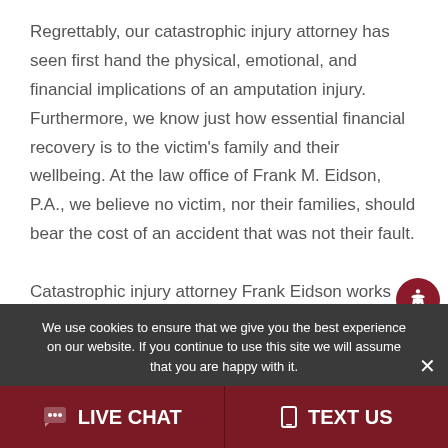Regrettably, our catastrophic injury attorney has seen first hand the physical, emotional, and financial implications of an amputation injury. Furthermore, we know just how essential financial recovery is to the victim's family and their wellbeing. At the law office of Frank M. Eidson, P.A., we believe no victim, nor their families, should bear the cost of an accident that was not their fault.

Catastrophic injury attorney Frank Eidson works diligently to obtain the maximum compensation
We use cookies to ensure that we give you the best experience on our website. If you continue to use this site we will assume that you are happy with it.
LIVE CHAT
TEXT US